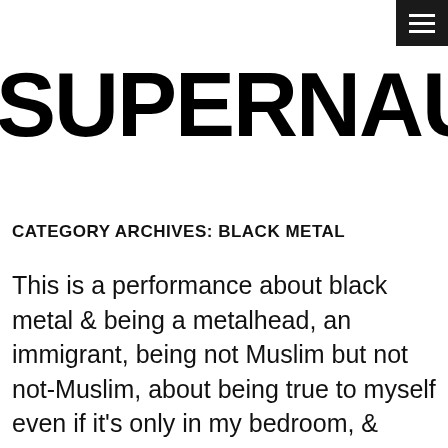[Figure (other): Hamburger menu icon button in black square, top-right corner]
SUPERNAUT
CATEGORY ARCHIVES: BLACK METAL
This is a performance about black metal & being a metalhead, an immigrant, being not Muslim but not not-Muslim, about being true to myself even if it's only in my bedroom, & about mediæval Germanic nun-mystics, who were metal as fuck.